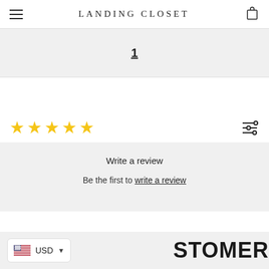LANDING CLOSET
1
[Figure (other): Five empty/outline star rating icons in yellow]
Write a review
Be the first to write a review
STOMERS WHO
USD